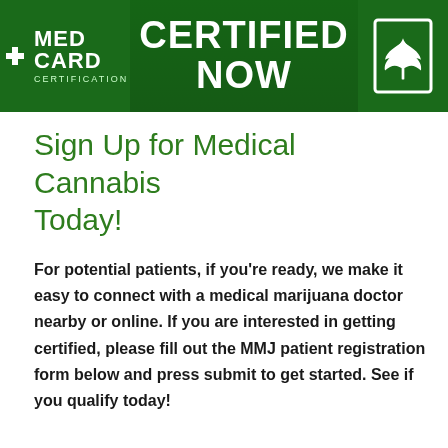[Figure (illustration): Med Card Certification banner with green background, cannabis leaves, bold white text reading 'MED CARD CERTIFICATION' on left, 'CERTIFIED NOW' in center, and a cannabis leaf icon in a white-bordered square on the right.]
Sign Up for Medical Cannabis Today!
For potential patients, if you’re ready, we make it easy to connect with a medical marijuana doctor nearby or online. If you are interested in getting certified, please fill out the MMJ patient registration form below and press submit to get started. See if you qualify today!